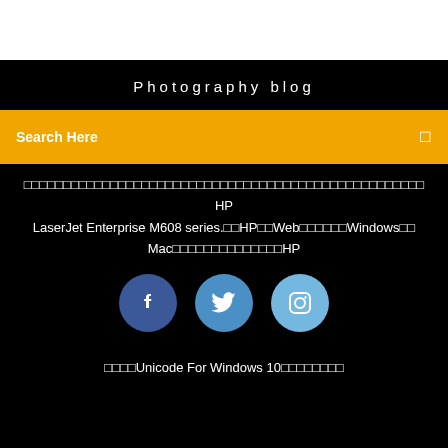Photography blog
Search Here
日本語テキストが含まれています HP LaserJet Enterprise M608 series。HPのWebサイトまたはWindowsまたはMacのサポートページについてはHP
[Figure (illustration): Three social media circles: Facebook (f), Twitter (bird icon), Instagram (camera icon)]
日本語Unicode For Windows 10のサポート情報